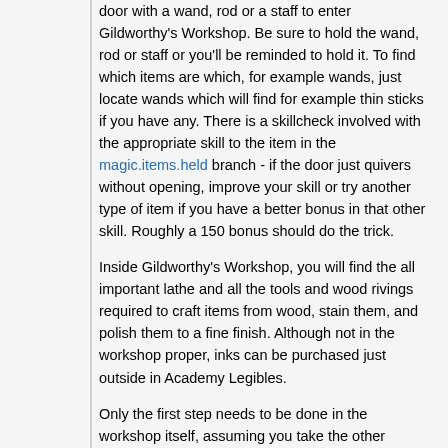door with a wand, rod or a staff to enter Gildworthy's Workshop. Be sure to hold the wand, rod or staff or you'll be reminded to hold it. To find which items are which, for example wands, just locate wands which will find for example thin sticks if you have any. There is a skillcheck involved with the appropriate skill to the item in the magic.items.held branch - if the door just quivers without opening, improve your skill or try another type of item if you have a better bonus in that other skill. Roughly a 150 bonus should do the trick.
Inside Gildworthy's Workshop, you will find the all important lathe and all the tools and wood rivings required to craft items from wood, stain them, and polish them to a fine finish. Although not in the workshop proper, inks can be purchased just outside in Academy Legibles.
Only the first step needs to be done in the workshop itself, assuming you take the other consumed components (sponge, wax) with you.
How it is done